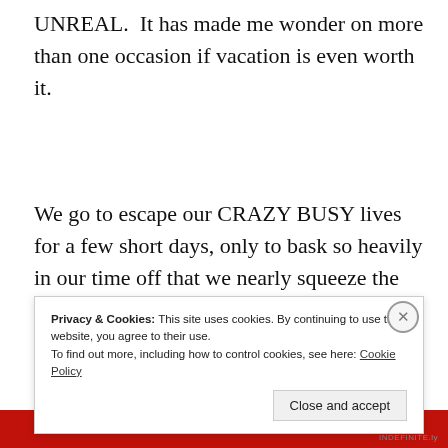UNREAL.  It has made me wonder on more than one occasion if vacation is even worth it.
We go to escape our CRAZY BUSY lives for a few short days, only to bask so heavily in our time off that we nearly squeeze the seconds away more quickly,
Privacy & Cookies: This site uses cookies. By continuing to use this website, you agree to their use.
To find out more, including how to control cookies, see here: Cookie Policy

Close and accept